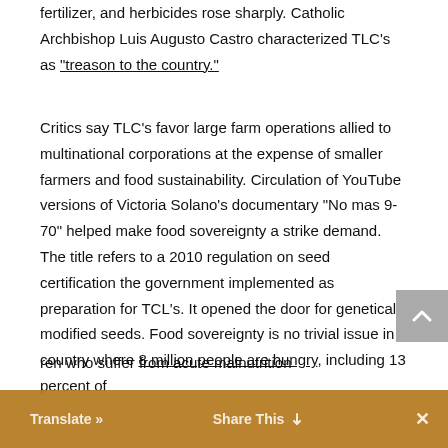fertilizer, and herbicides rose sharply. Catholic Archbishop Luis Augusto Castro characterized TLC's as "treason to the country."
Critics say TLC's favor large farm operations allied to multinational corporations at the expense of smaller farmers and food sustainability. Circulation of YouTube versions of Victoria Solano's documentary "No mas 9-70" helped make food sovereignty a strike demand. The title refers to a 2010 regulation on seed certification the government implemented as preparation for TCL's. It opened the door for genetically modified seeds. Food sovereignty is no trivial issue in a country where 8 million people are hungry, including 13 percent of children who suffer from acute malnutrition percent who are chronically
Translate » | Share This | ×